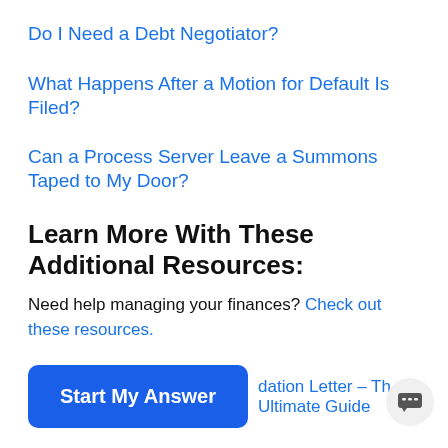Do I Need a Debt Negotiator?
What Happens After a Motion for Default Is Filed?
Can a Process Server Leave a Summons Taped to My Door?
Learn More With These Additional Resources:
Need help managing your finances? Check out these resources.
Start My Answer   ...dation Letter – The Ultimate Guide